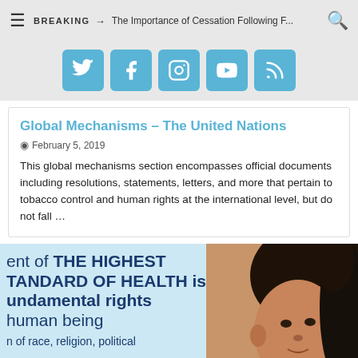BREAKING → The Importance of Cessation Following F...
[Figure (infographic): Social media icons row: Twitter, Facebook, Instagram, YouTube, RSS — each in a blue rounded square button]
Global Mechanisms – The United Nations
February 5, 2019
This global mechanisms section encompasses official documents including resolutions, statements, letters, and more that pertain to tobacco control and human rights at the international level, but do not fall ...
[Figure (infographic): Banner image with text: 'ent of THE HIGHEST TANDARD OF HEALTH is fundamental rights human being n of race, religion, political' overlaid on a light blue background, with a photo of a young person with curly hair on the right side]